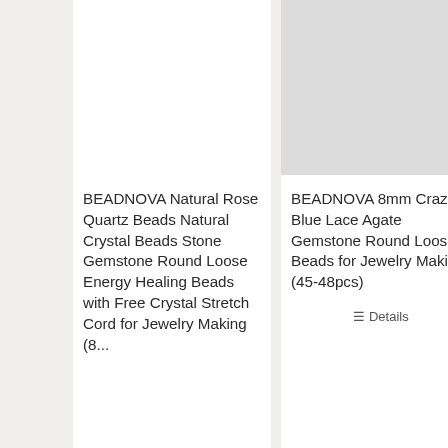[Figure (photo): Product image placeholder (light gray rectangle) for BEADNOVA Natural Rose Quartz Beads product - top left area, white background]
[Figure (photo): Product image placeholder (light gray rectangle) for BEADNOVA 8mm Crazy Blue Lace Agate Gemstone Round Loose Beads product - top right area]
BEADNOVA Natural Rose Quartz Beads Natural Crystal Beads Stone Gemstone Round Loose Energy Healing Beads with Free Crystal Stretch Cord for Jewelry Making (8...
BEADNOVA 8mm Crazy Blue Lace Agate Gemstone Round Loose Beads for Jewelry Making (45-48pcs)
≡ Details